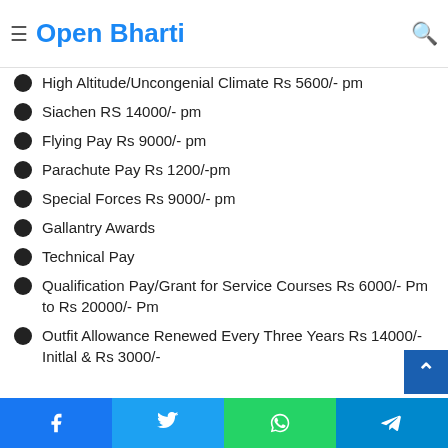Open Bharti
Transport Allowance Rs 1000/- pm to Rs 3200/- pm
% of Basic Pay RS5780/- to ...
Counter Insurgency Rs 6300/- pm
High Altitude/Uncongenial Climate Rs 5600/- pm
Siachen RS 14000/- pm
Flying Pay Rs 9000/- pm
Parachute Pay Rs 1200/-pm
Special Forces Rs 9000/- pm
Gallantry Awards
Technical Pay
Qualification Pay/Grant for Service Courses Rs 6000/- Pm to Rs 20000/- Pm
Outfit Allowance Renewed Every Three Years Rs 14000/- Initlal & Rs 3000/-